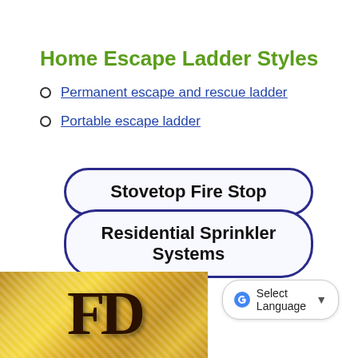Home Escape Ladder Styles
Permanent escape and rescue ladder
Portable escape ladder
Stovetop Fire Stop
Residential Sprinkler Systems
[Figure (logo): Gold metallic logo with letters FD in dark brown, with diamond/dot pattern texture]
Select Language